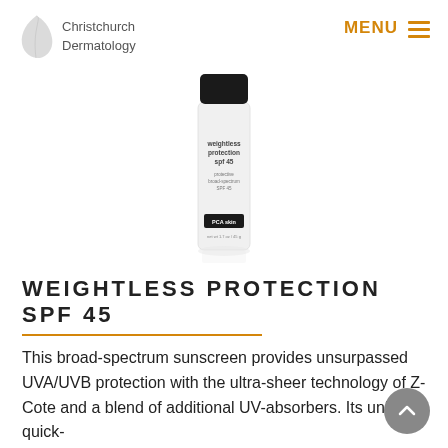Christchurch Dermatology | MENU
[Figure (photo): PCA Skin Weightless Protection SPF 45 product bottle — slim white cylindrical bottle with black cap, text on label: weightless protection spf 45, PCA skin, net wt 1.7 oz / 45 g]
WEIGHTLESS PROTECTION SPF 45
This broad-spectrum sunscreen provides unsurpassed UVA/UVB protection with the ultra-sheer technology of Z-Cote and a blend of additional UV-absorbers. Its unique quick-